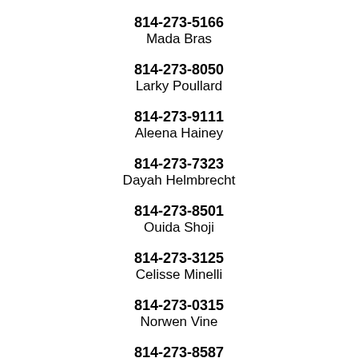814-273-5166
Mada Bras
814-273-8050
Larky Poullard
814-273-9111
Aleena Hainey
814-273-7323
Dayah Helmbrecht
814-273-8501
Ouida Shoji
814-273-3125
Celisse Minelli
814-273-0315
Norwen Vine
814-273-8587
Duaa Deberry
814-273-3158